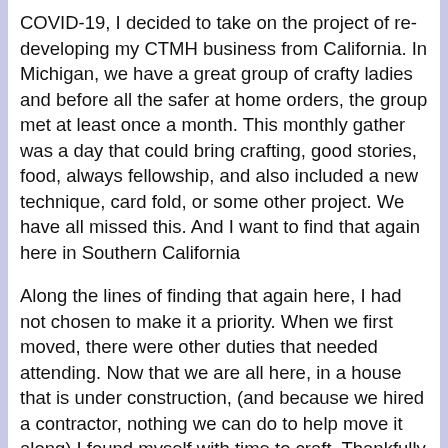COVID-19, I decided to take on the project of re-developing my CTMH business from California. In Michigan, we have a great group of crafty ladies and before all the safer at home orders, the group met at least once a month. This monthly gather was a day that could bring crafting, good stories, food, always fellowship, and also included a new technique, card fold, or some other project. We have all missed this. And I want to find that again here in Southern California
Along the lines of finding that again here, I had not chosen to make it a priority. When we first moved, there were other duties that needed attending. Now that we are all here, in a house that is under construction, (and because we hired a contractor, nothing we can do to help move it along) I found myself with time to craft. Thankfully I had kept SOME of my crafty tools and supplies out when we packed the rental house. So, what do I do with all this “free time?” I watch videos of other ladies crafting, videos of how to edit videos, make lists of things I feel I could teach others, and try to find fun new techniques for cards & scrapbooking.